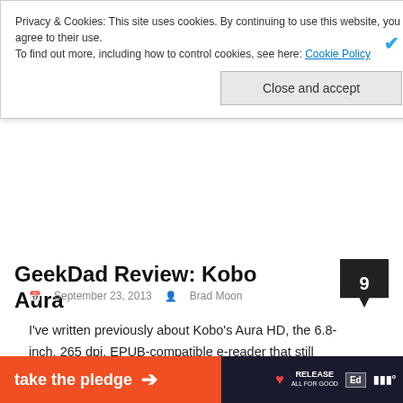Privacy & Cookies: This site uses cookies. By continuing to use this website, you agree to their use.
To find out more, including how to control cookies, see here: Cookie Policy
Close and accept
GeekDad Review: Kobo Aura
September 23, 2013   Brad Moon
I've written previously about Kobo's Aura HD, the 6.8-inch, 265 dpi, EPUB-compatible e-reader that still leads the pack so far as I'm concerned. Kobo has now released the Aura, a 6-inch e-reader that doesn't have quite the same razor sharp display as the Aura HD, but it's much more compact and shaves some dollars off the price tag as well. By being smaller than comparable e-readers, finding a variety of
[Figure (infographic): take the pledge advertisement banner with orange to dark background gradient, arrow, heart icon, RELEASE text, education icon, and moodle-style icon]